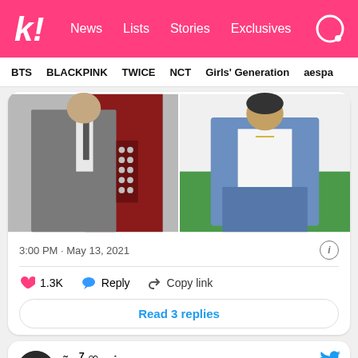k! News Lists Stories Exclusives
BTS BLACKPINK TWICE NCT Girls' Generation aespa
[Figure (photo): Two photos side by side: left shows a person in a grey suit standing in front of a red door with elevator buttons; right shows a person in a denim jacket and jeans standing in front of a white and green background]
3:00 PM · May 13, 2021
♥ 1.3K  Reply  Copy link
Read 3 replies
ãc ⁷ ♡ —ia.
@vminggukx · Follow